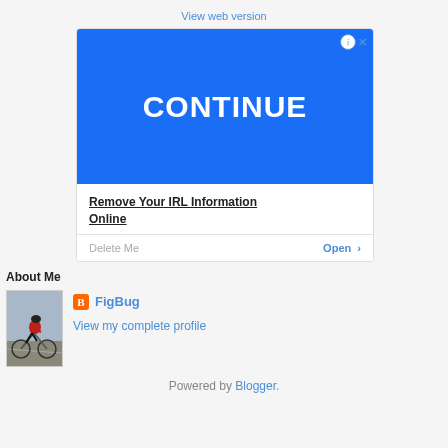View web version
[Figure (screenshot): Advertisement with blue background showing 'CONTINUE' in white bold text, with ad controls (info/close icons) in top right corner. Below the blue area: bold underlined text 'Remove Your IRL Information Online', 'Delete Me' in gray and 'Open >' in blue.]
About Me
[Figure (photo): Photo of a cyclist in black and red gear riding a road bike, leaning forward in racing position]
FigBug
View my complete profile
Powered by Blogger.